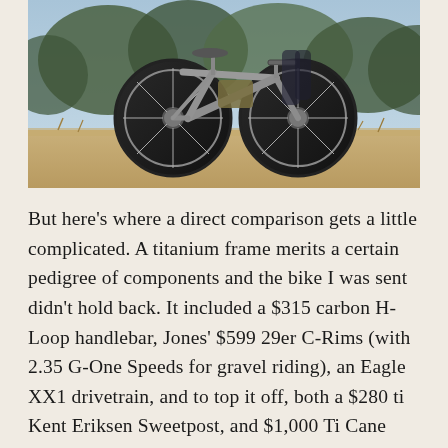[Figure (photo): A titanium gravel/mountain bike leaning against a dry scrubby landscape with blue sky and trees in the background. The bike is silver/grey titanium with wide tires.]
But here's where a direct comparison gets a little complicated. A titanium frame merits a certain pedigree of components and the bike I was sent didn't hold back. It included a $315 carbon H-Loop handlebar, Jones' $599 29er C-Rims (with 2.35 G-One Speeds for gravel riding), an Eagle XX1 drivetrain, and to top it off, both a $280 ti Kent Eriksen Sweetpost, and $1,000 Ti Cane Creek eeWings cranks. In short, it was Jones' vision of the